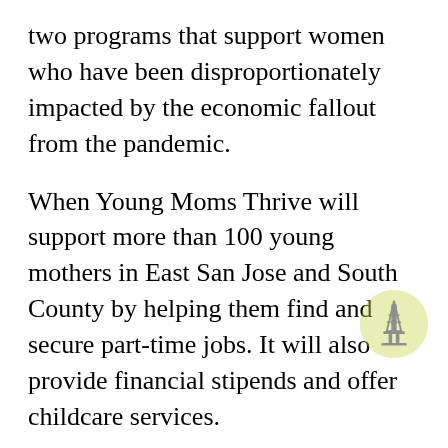two programs that support women who have been disproportionately impacted by the economic fallout from the pandemic.
When Young Moms Thrive will support more than 100 young mothers in East San Jose and South County by helping them find and secure part-time jobs. It will also provide financial stipends and offer childcare services.
The other program earmarks $1 million to provide free feminine hygiene products to women in need. “This was an attempt to recognize that Covid-19 has taken almost everything that is bad for low-income women of color and made it much, much worse,” said Supervisor Cindy Chavez, who introduced both